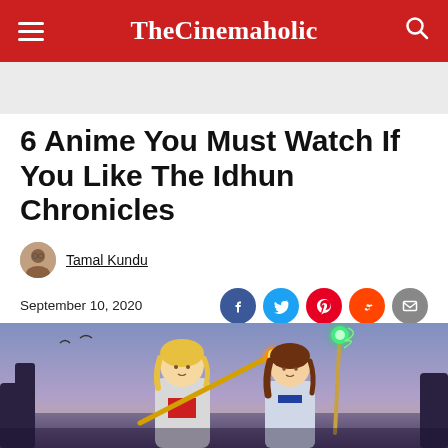TheCinemaholic
6 Anime You Must Watch If You Like The Idhun Chronicles
Tamal Kundu
September 10, 2020
[Figure (photo): Anime characters from The Idhun Chronicles — a blonde boy holding a flaming golden spear and a brown-haired girl holding a glowing green staff, against a twilight sky background.]